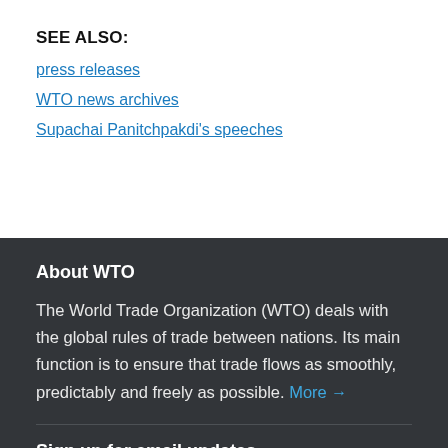SEE ALSO:
press releases
WTO news archives
Supachai Panitchpakdi's speeches
About WTO
The World Trade Organization (WTO) deals with the global rules of trade between nations. Its main function is to ensure that trade flows as smoothly, predictably and freely as possible. More →
Sign up for email updates